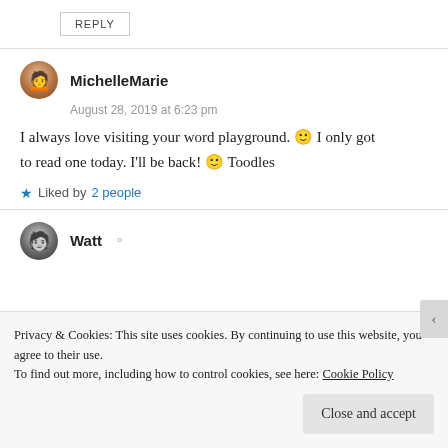REPLY
MichelleMarie
August 28, 2019 at 6:23 pm
I always love visiting your word playground. 🙂 I only got to read one today. I'll be back! 🙂 Toodles
Liked by 2 people
Watt
Privacy & Cookies: This site uses cookies. By continuing to use this website, you agree to their use. To find out more, including how to control cookies, see here: Cookie Policy
Close and accept